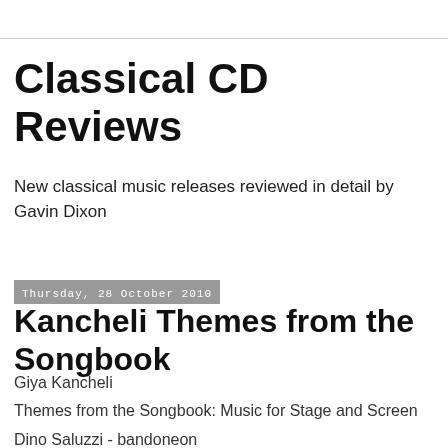Classical CD Reviews
New classical music releases reviewed in detail by Gavin Dixon
Thursday, 28 October 2010
Kancheli Themes from the Songbook
Giya Kancheli
Themes from the Songbook: Music for Stage and Screen
Dino Saluzzi - bandoneon
Andrei Pushkarev - vibraphone
Gidon Kremer – violin